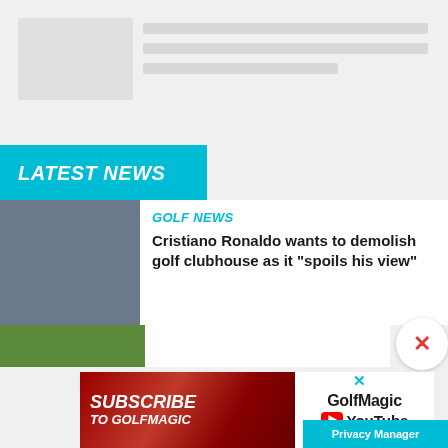[Figure (screenshot): Placeholder image and text lines at the top of the page]
LATEST NEWS
[Figure (photo): Photo of Cristiano Ronaldo in red Manchester United shirt, looking upward]
GOLF NEWS
Cristiano Ronaldo wants to demolish golf clubhouse as it "spoils his view"
[Figure (screenshot): Partial second news card thumbnail showing green background]
[Figure (infographic): Advertisement banner: SUBSCRIBE TO GOLFMAGIC with GolfMagic YouTube branding]
Privacy Manager